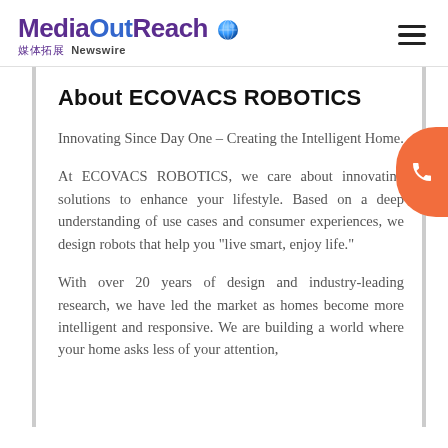MediaOutReach 媒体拓展 Newswire
About ECOVACS ROBOTICS
Innovating Since Day One – Creating the Intelligent Home.
At ECOVACS ROBOTICS, we care about innovating solutions to enhance your lifestyle. Based on a deep understanding of use cases and consumer experiences, we design robots that help you "live smart, enjoy life."
With over 20 years of design and industry-leading research, we have led the market as homes become more intelligent and responsive. We are building a world where your home asks less of your attention,